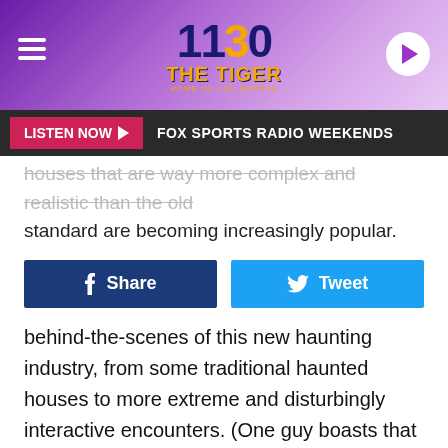[Figure (logo): 1130 The Tiger – Home of LSU Sports logo with purple gradient background, hamburger menu icon on left, play button on right]
LISTEN NOW ▶   FOX SPORTS RADIO WEEKENDS
houses that are way more complex and realistic than the old standard are becoming increasingly popular.
Share   Tweet
behind-the-scenes of this new haunting industry, from some traditional haunted houses to more extreme and disturbingly interactive encounters. (One guy boasts that he can deliver simulated drownings which, y'know, I'm gonna take a hard pass on that right from the jump.)
Here's the doc's official synopsis:
Haunters: The Art Of The Scare is a heart-warming